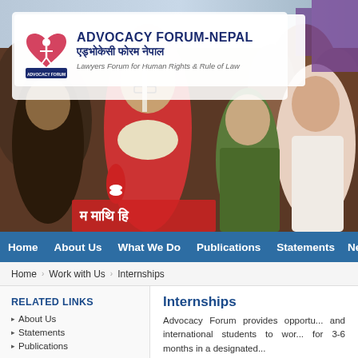[Figure (photo): Hero photograph of a group of people at a protest or rally, some holding signs with Nepali text. In the foreground a woman wearing glasses and a red jacket holds a sign. Behind her are several other people. The Advocacy Forum-Nepal logo box is overlaid on the top-left of the photo.]
ADVOCACY FORUM-NEPAL
एड्भोकेसी फोरम नेपाल
Lawyers Forum for Human Rights & Rule of Law
Home  About Us  What We Do  Publications  Statements  New
Home   Work with Us   Internships
RELATED LINKS
About Us
Statements
Publications
Internships
Advocacy Forum provides opportu... and international students to wor... for 3-6 months in a designated... ... ...